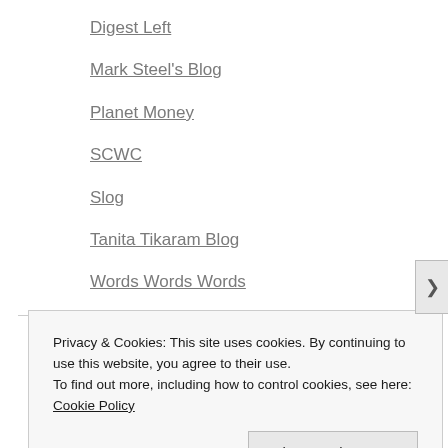Digest Left
Mark Steel's Blog
Planet Money
SCWC
Slog
Tanita Tikaram Blog
Words Words Words
HEADLINES
Privacy & Cookies: This site uses cookies. By continuing to use this website, you agree to their use.
To find out more, including how to control cookies, see here: Cookie Policy
Close and accept